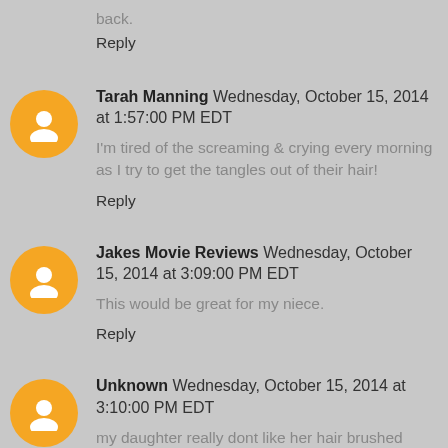back.
Reply
Tarah Manning Wednesday, October 15, 2014 at 1:57:00 PM EDT
I'm tired of the screaming & crying every morning as I try to get the tangles out of their hair!
Reply
Jakes Movie Reviews Wednesday, October 15, 2014 at 3:09:00 PM EDT
This would be great for my niece.
Reply
Unknown Wednesday, October 15, 2014 at 3:10:00 PM EDT
my daughter really dont like her hair brushed she...